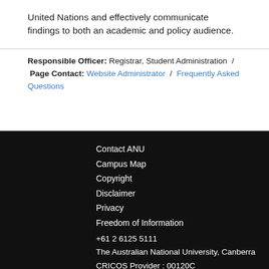United Nations and effectively communicate findings to both an academic and policy audience.
Responsible Officer: Registrar, Student Administration / Page Contact: Website Administrator / Frequently Asked Questions
Contact ANU
Campus Map
Copyright
Disclaimer
Privacy
Freedom of Information
+61 2 6125 5111
The Australian National University, Canberra
CRICOS Provider : 00120C
ABN : 52 234 063 906